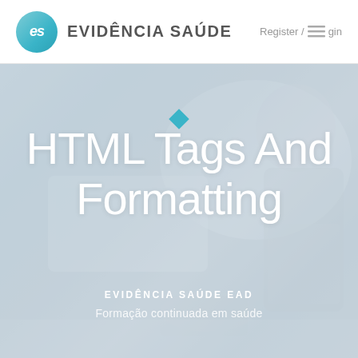[Figure (logo): Evidência Saúde logo: teal circle with 'es' initials, followed by brand name 'EVIDÊNCIA SAÚDE' in uppercase grey text]
Register / Login
[Figure (photo): Hero banner with blurred background photo of person at laptop, overlaid with large white text title 'HTML Tags And Formatting' and subtitle lines 'EVIDÊNCIA SAÚDE EAD' and 'Formação continuada em saúde'. A teal diamond decorative element sits above the title.]
HTML Tags And Formatting
EVIDÊNCIA SAÚDE EAD
Formação continuada em saúde